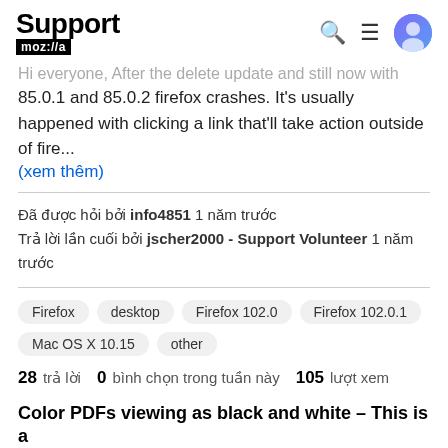Support mozilla//a
Hi everyone, After the delete update and still now with 85.0.1 and 85.0.2 firefox crashes. It's usually happened with clicking a link that'll take action outside of fire... (xem thêm)
Đã được hỏi bởi info4851 1 năm trước
Trả lời lần cuối bởi jscher2000 - Support Volunteer 1 năm trước
Firefox
desktop
Firefox 102.0
Firefox 102.0.1
Mac OS X 10.15
other
28 trả lời  0  bình chọn trong tuần này  105  lượt xem
Color PDFs viewing as black and white – This is a